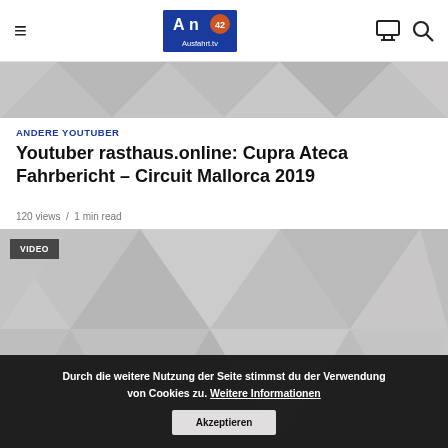Ausfahrt.tv navigation bar with hamburger menu, logo, monitor icon, and search icon
[Figure (photo): Gray geometric triangle pattern banner image at top of article]
ANDERE YOUTUBER
Youtuber rasthaus.online: Cupra Ateca Fahrbericht – Circuit Mallorca 2019
120 views / 1 min read
[Figure (screenshot): Video thumbnail with gray geometric triangle pattern and VIDEO badge label in top-left corner]
Durch die weitere Nutzung der Seite stimmst du der Verwendung von Cookies zu. Weitere Informationen   Akzeptieren